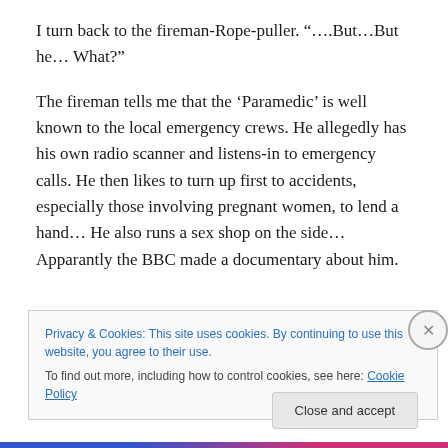I turn back to the fireman-Rope-puller. “….But…But he… What?”
The fireman tells me that the ‘Paramedic’ is well known to the local emergency crews. He allegedly has his own radio scanner and listens-in to emergency calls. He then likes to turn up first to accidents, especially those involving pregnant women, to lend a hand… He also runs a sex shop on the side… Apparantly the BBC made a documentary about him.
Privacy & Cookies: This site uses cookies. By continuing to use this website, you agree to their use.
To find out more, including how to control cookies, see here: Cookie Policy